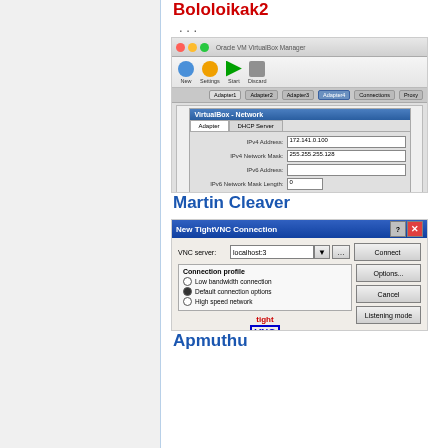Bololoikak2
...
[Figure (screenshot): Oracle VM VirtualBox Manager - Network adapter settings dialog showing IPv4 Address: 172.141.0.100, IPv4 Network Mask: 255.255.255.128, IPv6 Address and IPv6 Network Mask Length fields]
Martin Cleaver
[Figure (screenshot): New TightVNC Connection dialog with VNC server: localhost:3, Connection profile options (Low bandwidth connection, Default connection options selected, High speed network), and buttons Connect, Options, Cancel, Listening mode]
Apmuthu